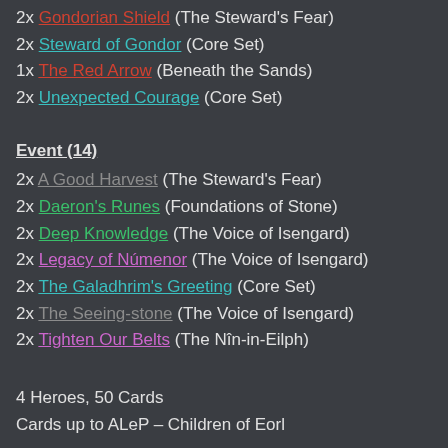2x Gondorian Shield (The Steward's Fear)
2x Steward of Gondor (Core Set)
1x The Red Arrow (Beneath the Sands)
2x Unexpected Courage (Core Set)
Event (14)
2x A Good Harvest (The Steward's Fear)
2x Daeron's Runes (Foundations of Stone)
2x Deep Knowledge (The Voice of Isengard)
2x Legacy of Númenor (The Voice of Isengard)
2x The Galadhrim's Greeting (Core Set)
2x The Seeing-stone (The Voice of Isengard)
2x Tighten Our Belts (The Nîn-in-Eilph)
4 Heroes, 50 Cards
Cards up to ALeP – Children of Eorl